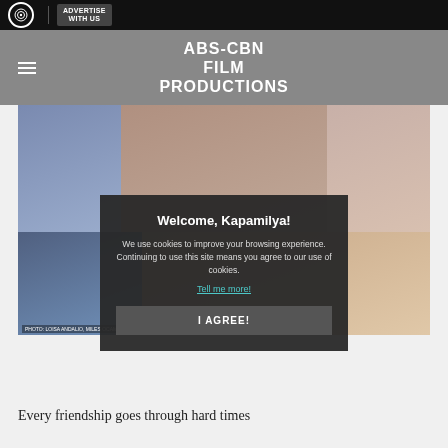ABS-CBN | ADVERTISE WITH US
ABS-CBN FILM PRODUCTIONS
[Figure (photo): Collage of Filipino actresses promotional photo for ABS-CBN Film Productions. Photo credit: Loisa Andalio, Miles Ocampo, and others visible.]
Welcome, Kapamilya!

We use cookies to improve your browsing experience.
Continuing to use this site means you agree to our use of cookies.

Tell me more!

I AGREE!
Every friendship goes through hard times